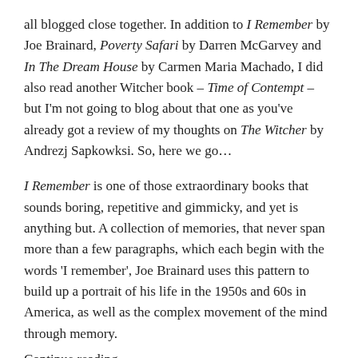all blogged close together. In addition to I Remember by Joe Brainard, Poverty Safari by Darren McGarvey and In The Dream House by Carmen Maria Machado, I did also read another Witcher book – Time of Contempt – but I'm not going to blog about that one as you've already got a review of my thoughts on The Witcher by Andrezj Sapkowksi. So, here we go…
I Remember is one of those extraordinary books that sounds boring, repetitive and gimmicky, and yet is anything but. A collection of memories, that never span more than a few paragraphs, which each begin with the words 'I remember', Joe Brainard uses this pattern to build up a portrait of his life in the 1950s and 60s in America, as well as the complex movement of the mind through memory.
Continue reading →